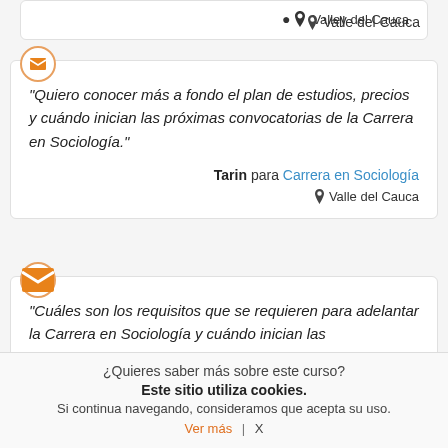Valle del Cauca
"Quiero conocer más a fondo el plan de estudios, precios y cuándo inician las próximas convocatorias de la Carrera en Sociología."
Tarin para Carrera en Sociología
Valle del Cauca
"Cuáles son los requisitos que se requieren para adelantar la Carrera en Sociología y cuándo inician las inscripciones."
¿Quieres saber más sobre este curso?
Este sitio utiliza cookies.
Si continua navegando, consideramos que acepta su uso.
Ver más | X